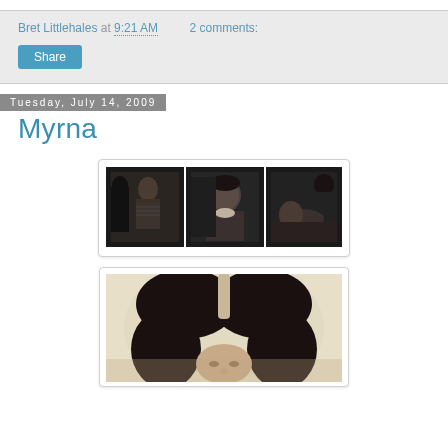Bret Littlehales at 9:21 AM   2 comments:
Share
Tuesday, July 14, 2009
Myrna
[Figure (photo): Three black-and-white film stills arranged horizontally showing a woman in different scenes]
[Figure (photo): Vintage black-and-white portrait photograph showing the top and face of a woman with dark hair parted in the middle, viewed from slightly above]